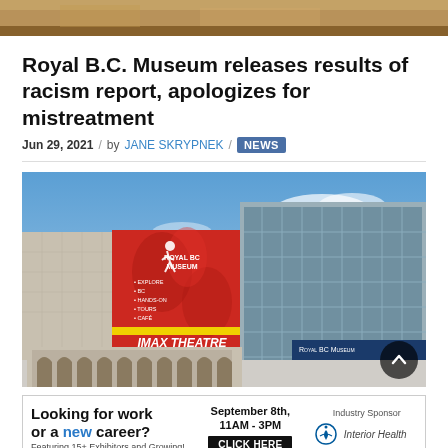[Figure (photo): Top strip of a photo showing a warm-toned interior or ceiling, partially cropped at top of page]
Royal B.C. Museum releases results of racism report, apologizes for mistreatment
Jun 29, 2021 / by JANE SKRYPNEK / NEWS
[Figure (photo): Exterior photo of the Royal BC Museum building featuring a large red Royal BC Museum banner/advertisement and IMAX Theatre signage. Blue sky in background. Royal BC Museum sign visible on right side of building.]
[Figure (infographic): Advertisement banner: Looking for work or a new career? Featuring 15+ Exhibitors and Growing! September 8th, 11AM-3PM. CLICK HERE. Industry Sponsor: Interior Health logo.]